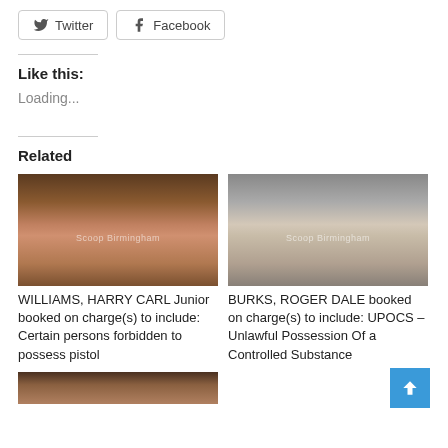[Figure (other): Twitter and Facebook share buttons]
Like this:
Loading...
Related
[Figure (photo): Mugshot of WILLIAMS, HARRY CARL Junior with Scoop Birmingham watermark]
WILLIAMS, HARRY CARL Junior booked on charge(s) to include: Certain persons forbidden to possess pistol
[Figure (photo): Mugshot of BURKS, ROGER DALE with Scoop Birmingham watermark]
BURKS, ROGER DALE booked on charge(s) to include: UPOCS – Unlawful Possession Of a Controlled Substance
[Figure (photo): Partial mugshot at bottom of page]